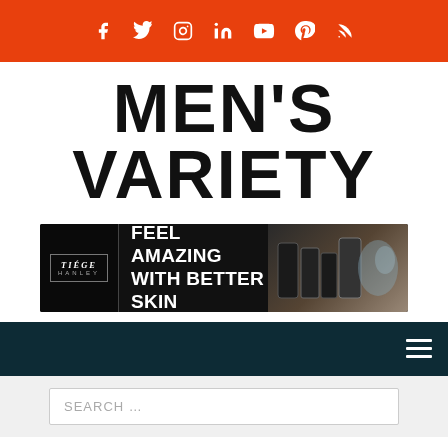Social media icons bar (Facebook, Twitter, Instagram, LinkedIn, YouTube, Pinterest, RSS)
MEN'S VARIETY
[Figure (infographic): Tiege Hanley advertisement banner: FEEL AMAZING WITH BETTER SKIN, with skincare product images and a man washing his face]
[Figure (other): Dark teal navigation bar with hamburger menu icon]
SEARCH ...
Relationships